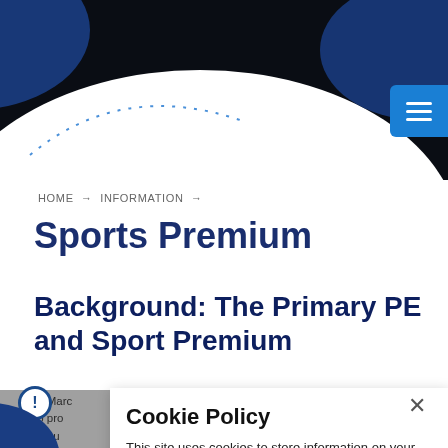[Figure (illustration): Dark navy and blue geometric/wave header background with dotted line arc decoration on white area]
[Figure (illustration): Blue hamburger menu button top right]
HOME → INFORMATION →
Sports Premium
Background: The Primary PE and Sport Premium
In Marc... announced that it to pro... condition per annu... 20 2015 to... cal education spo... The Pri Sport Premium. This funding...
Cookie Policy
This site uses cookies to store information on your computer. Click here for more information
Allow Cookies   Deny Cookies